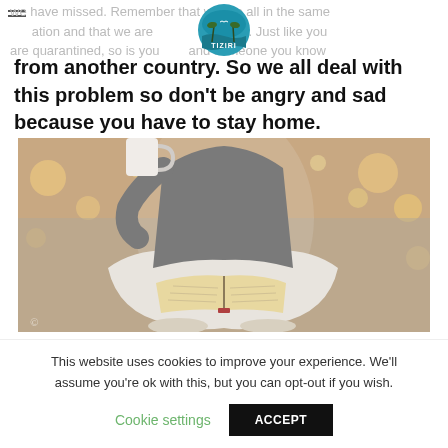we have missed. Remember that we are all in the same situation and that we are in the same situation. Just like you are quarantined, so is your family and someone you know from another country. So we all deal with this problem so don't be angry and sad because you have to stay home.
[Figure (photo): Person sitting cross-legged on a bed, holding a mug, reading an open book, with bokeh fairy lights in the background. Cozy indoor setting.]
This website uses cookies to improve your experience. We'll assume you're ok with this, but you can opt-out if you wish.
Cookie settings   ACCEPT